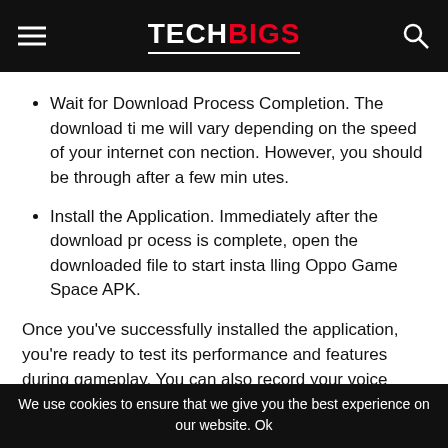TECHBIGS
Wait for Download Process Completion. The download time will vary depending on the speed of your internet connection. However, you should be through after a few minutes.
Install the Application. Immediately after the download process is complete, open the downloaded file to start installing Oppo Game Space APK.
Once you've successfully installed the application, you're ready to test its performance and features during gameplay. You can also record your voice while playing if necessary. Keep in mind that this application doesn't support all games
We use cookies to ensure that we give you the best experience on our website. Ok